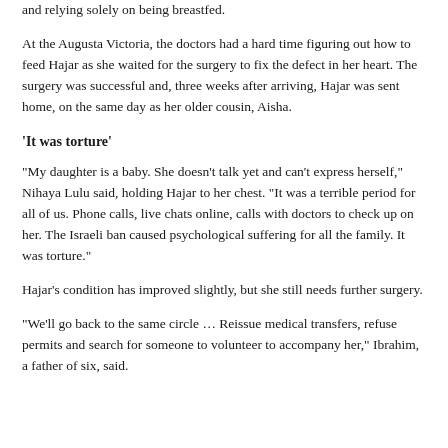and relying solely on being breastfed.
At the Augusta Victoria, the doctors had a hard time figuring out how to feed Hajar as she waited for the surgery to fix the defect in her heart. The surgery was successful and, three weeks after arriving, Hajar was sent home, on the same day as her older cousin, Aisha.
‘It was torture’
“My daughter is a baby. She doesn’t talk yet and can’t express herself,” Nihaya Lulu said, holding Hajar to her chest. “It was a terrible period for all of us. Phone calls, live chats online, calls with doctors to check up on her. The Israeli ban caused psychological suffering for all the family. It was torture.”
Hajar’s condition has improved slightly, but she still needs further surgery.
“We’ll go back to the same circle … Reissue medical transfers, refuse permits and search for someone to volunteer to accompany her,” Ibrahim, a father of six, said.